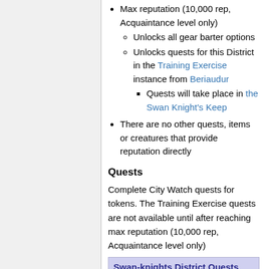Max reputation (10,000 rep, Acquaintance level only)
Unlocks all gear barter options
Unlocks quests for this District in the Training Exercise instance from Beriaudur
Quests will take place in the Swan Knight's Keep
There are no other quests, items or creatures that provide reputation directly
Quests
Complete City Watch quests for tokens. The Training Exercise quests are not available until after reaching max reputation (10,000 rep, Acquaintance level only)
| Swan-knights District Quests |
| --- |